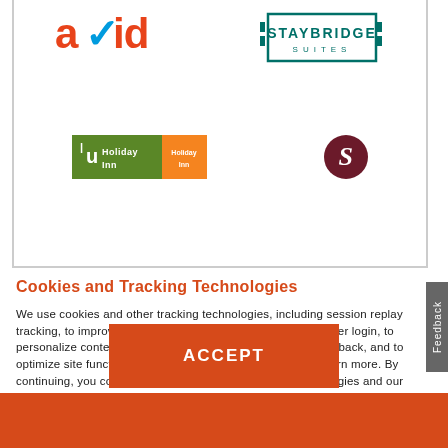[Figure (logo): Hotel and brand logos: AVID, Staybridge Suites, Holiday Inn, and a dark red S logo in a circle, displayed in a bordered box.]
Cookies and Tracking Technologies
We use cookies and other tracking technologies, including session replay tracking, to improve your experience, to provide and remember login, to personalize content and ads, to record sessions for later playback, and to optimize site functionality. Read our Privacy Statement to learn more. By continuing, you consent to our use of these tracking technologies and our terms including important waivers. To learn more about the trackers on our site and change your preferences, View Settings.